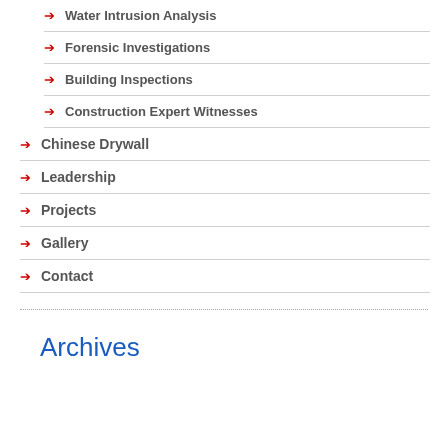Water Intrusion Analysis
Forensic Investigations
Building Inspections
Construction Expert Witnesses
Chinese Drywall
Leadership
Projects
Gallery
Contact
Archives